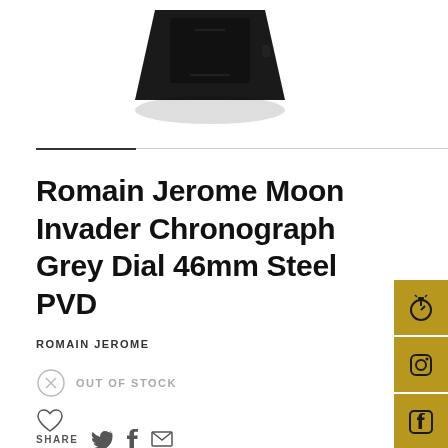[Figure (photo): Product photo of a dark/black watch partially visible at the top of the page, cropped]
Romain Jerome Moon Invader Chronograph Grey Dial 46mm Steel PVD
ROMAIN JEROME
OUT OF STOCK
[Figure (other): Heart/wishlist icon]
SHARE
[Figure (other): Social media sidebar with icons: stopwatch/timer, Instagram, Facebook, LinkedIn, YouTube — on gold/yellow background squares]